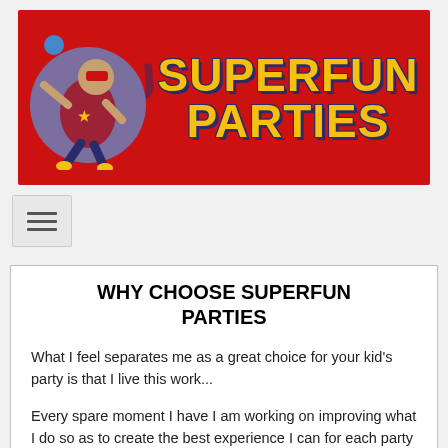[Figure (logo): Superfun Parties logo banner with red background, superhero character on the left inside a purple circle, and 'SUPERFUN PARTIES' text in large yellow outlined letters with dark navy shadow]
[Figure (other): Hamburger/menu toggle button with three horizontal bars on light grey background]
WHY CHOOSE SUPERFUN PARTIES
What I feel separates me as a great choice for your kid's party is that I live this work...
Every spare moment I have I am working on improving what I do so as to create the best experience I can for each party that I do.